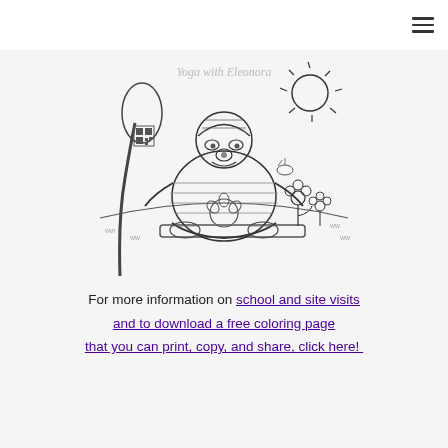[hamburger menu icon]
[Figure (illustration): A coloring page illustration titled 'Yoga with Eleonora' showing a cartoon sloth sitting cross-legged in a yoga meditation pose on a mat, holding a lotus/peace symbol. There is a tree on the left, a sun in the upper right, flowers on the right, and a bee. A small QR code is visible in the upper left of the illustration. The image is in black and white line art style.]
For more information on school and site visits and to download a free coloring page that you can print, copy, and share, click here!